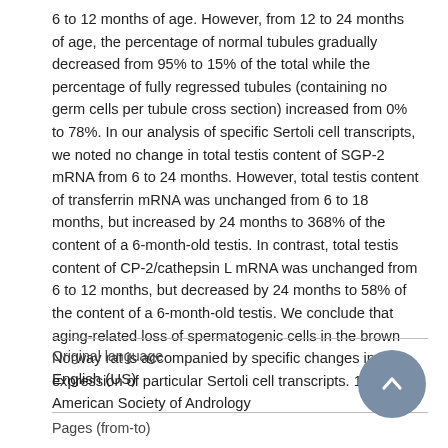6 to 12 months of age. However, from 12 to 24 months of age, the percentage of normal tubules gradually decreased from 95% to 15% of the total while the percentage of fully regressed tubules (containing no germ cells per tubule cross section) increased from 0% to 78%. In our analysis of specific Sertoli cell transcripts, we noted no change in total testis content of SGP-2 mRNA from 6 to 24 months. However, total testis content of transferrin mRNA was unchanged from 6 to 18 months, but increased by 24 months to 368% of the content of a 6-month-old testis. In contrast, total testis content of CP-2/cathepsin L mRNA was unchanged from 6 to 12 months, but decreased by 24 months to 58% of the content of a 6-month-old testis. We conclude that aging-related loss of spermatogenic cells in the brown Norway rat is accompanied by specific changes in expression of particular Sertoli cell transcripts. 1993 American Society of Andrology
Original language
English (US)
Pages (from-to)